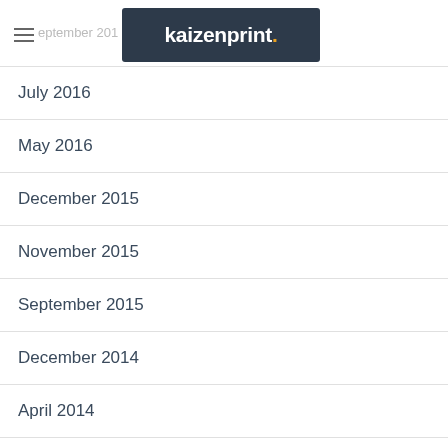[Figure (logo): kaizenprint. logo — white text on dark navy background with orange period]
July 2016
May 2016
December 2015
November 2015
September 2015
December 2014
April 2014
December 2013
October 2013
September 2013